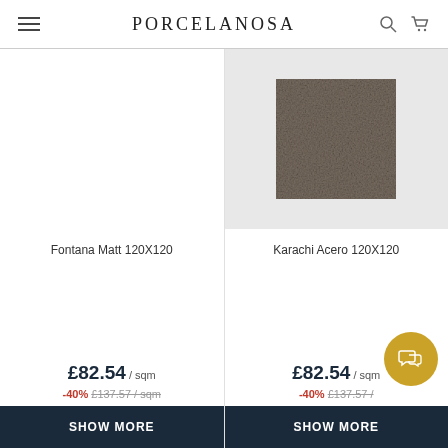PORCELANOSA
[Figure (photo): Product tile image area for Fontana Matt 120X120 - blank white area]
[Figure (photo): Product tile image: Karachi Acero 120X120 - taupe/grey stone effect square ceramic tile on light grey background]
Fontana Matt 120X120
Karachi Acero 120X120
£82.54 / sqm -40% £137.57 / sqm
£82.54 / sqm -40% £137.57 / sqm